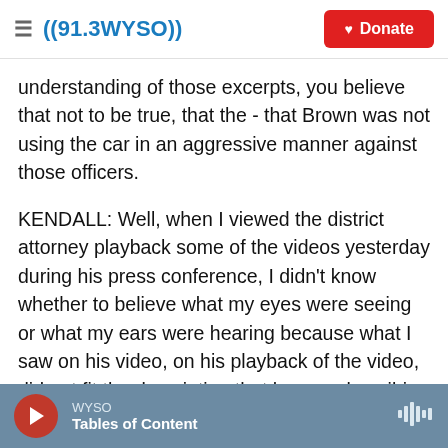((91.3 WYSO)) Donate
understanding of those excerpts, you believe that not to be true, that the - that Brown was not using the car in an aggressive manner against those officers.
KENDALL: Well, when I viewed the district attorney playback some of the videos yesterday during his press conference, I didn't know whether to believe what my eyes were seeing or what my ears were hearing because what I saw on his video, on his playback of the video, did not fit the description that he was describing to the assembled press at the press conference. He said that the victim, Mr.
WYSO — Tables of Content